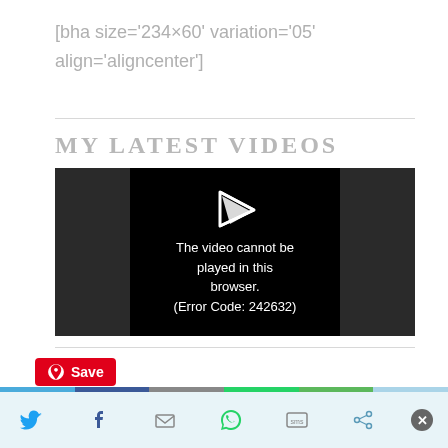[bha size='234×60' variation='05' align='aligncenter']
MY LATEST VIDEOS
[Figure (screenshot): Video player showing error message: 'The video cannot be played in this browser. (Error Code: 242632)']
[Figure (other): Social share bar with Pinterest Save button and share icons for Twitter, Facebook, Email, WhatsApp, SMS, and other sharing options]